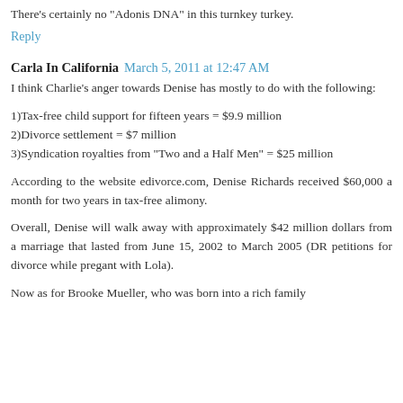There's certainly no "Adonis DNA" in this turnkey turkey.
Reply
Carla In California   March 5, 2011 at 12:47 AM
I think Charlie's anger towards Denise has mostly to do with the following:
1)Tax-free child support for fifteen years = $9.9 million
2)Divorce settlement = $7 million
3)Syndication royalties from "Two and a Half Men" = $25 million
According to the website edivorce.com, Denise Richards received $60,000 a month for two years in tax-free alimony.
Overall, Denise will walk away with approximately $42 million dollars from a marriage that lasted from June 15, 2002 to March 2005 (DR petitions for divorce while pregant with Lola).
Now as for Brooke Mueller, who was born into a rich family